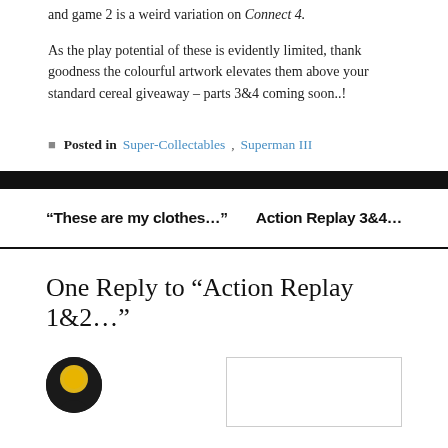and game 2 is a weird variation on Connect 4.
As the play potential of these is evidently limited, thank goodness the colourful artwork elevates them above your standard cereal giveaway – parts 3&4 coming soon..!
Posted in Super-Collectables, Superman III
“These are my clothes…”
Action Replay 3&4…
One Reply to “Action Replay 1&2…”